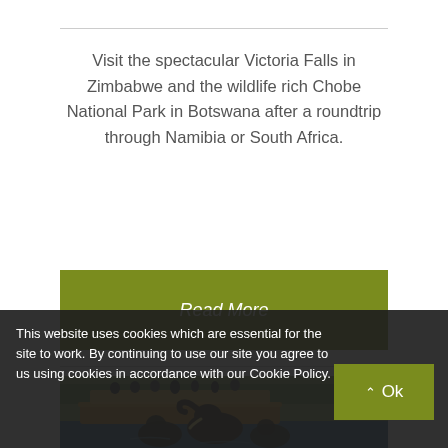Visit the spectacular Victoria Falls in Zimbabwe and the wildlife rich Chobe National Park in Botswana after a roundtrip through Namibia or South Africa.
[Figure (other): Green button/CTA reading 'Read More']
[Figure (photo): Photograph of elephants bathing in a river with a tourist boat visible in the background, trees lining the far bank.]
This website uses cookies which are essential for the site to work. By continuing to use our site you agree to us using cookies in accordance with our Cookie Policy.